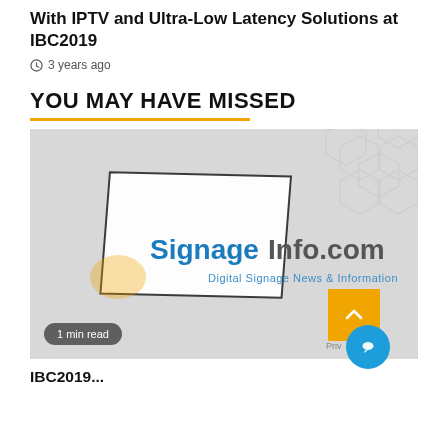With IPTV and Ultra-Low Latency Solutions at IBC2019
3 years ago
YOU MAY HAVE MISSED
[Figure (logo): SignageInfo.com logo — Digital Signage News & Information — on a light grey hexagonal background. Badge reads '1 min read' in bottom left.]
IBC2019...